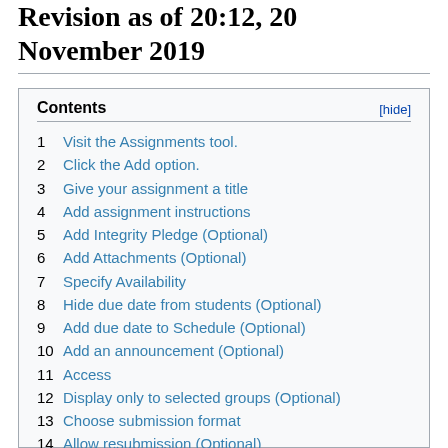Revision as of 20:12, 20 November 2019
1 Visit the Assignments tool.
2 Click the Add option.
3 Give your assignment a title
4 Add assignment instructions
5 Add Integrity Pledge (Optional)
6 Add Attachments (Optional)
7 Specify Availability
8 Hide due date from students (Optional)
9 Add due date to Schedule (Optional)
10 Add an announcement (Optional)
11 Access
12 Display only to selected groups (Optional)
13 Choose submission format
14 Allow resubmission (Optional)